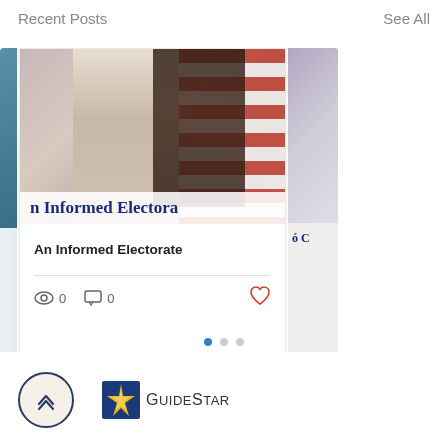Recent Posts    See All
[Figure (photo): Blog post card showing two women in front of an American flag, with blue overlay text reading 'n Informed Electora' (partially cropped). Post title: 'An Informed Electorate'. Views: 0, Comments: 0. Heart/like icon in red.]
An Informed Electorate
[Figure (logo): GuideStar logo: a blue and gold star/compass icon next to the text 'GuideStar' in dark gray, all-caps style]
[Figure (other): Circular up-arrow button with dark navy border and cream background]